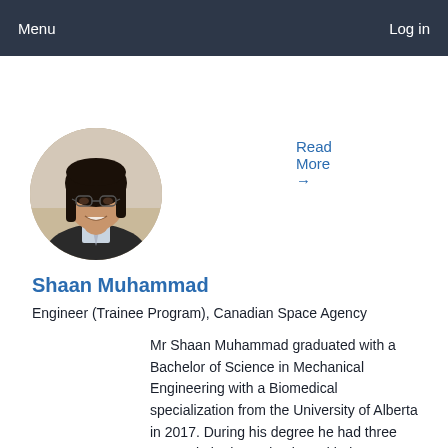Menu  Log in
Read More →
[Figure (photo): Circular profile photo of Shaan Muhammad, a young man with long dark hair and glasses, wearing a suit and tie, smiling.]
Shaan Muhammad
Engineer (Trainee Program), Canadian Space Agency
Mr Shaan Muhammad graduated with a Bachelor of Science in Mechanical Engineering with a Biomedical specialization from the University of Alberta in 2017. During his degree he had three co-ops in both academia and industry which included...